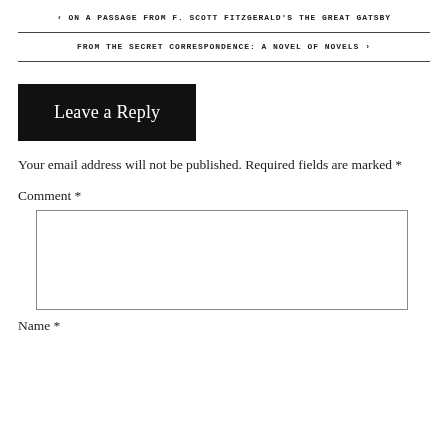‹ ON A PASSAGE FROM F. SCOTT FITZGERALD'S THE GREAT GATSBY
FROM THE SECRET CORRESPONDENCE: A NOVEL OF NOVELS ›
Leave a Reply
Your email address will not be published. Required fields are marked *
Comment *
Name *